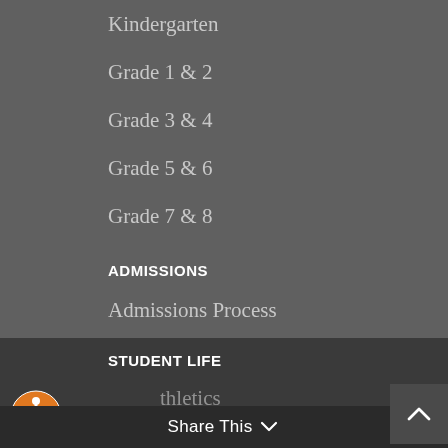Kindergarten
Grade 1 & 2
Grade 3 & 4
Grade 5 & 6
Grade 7 & 8
ADMISSIONS
Admissions Process
Before / After School Care
Transportation
International Students
STUDENT LIFE
Athletics
Activities
Share This